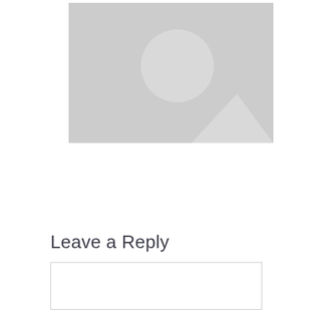[Figure (illustration): Gray placeholder image with a lighter gray circle in the upper center area and a lighter gray mountain/triangle shape at the bottom right, representing a missing or broken image placeholder.]
Leave a Reply
Type here